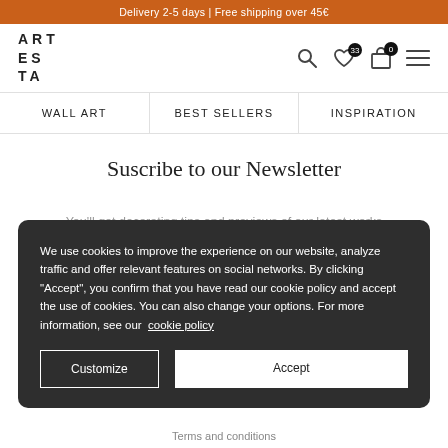Delivery 2-5 days | Free shipping over 45€
[Figure (logo): ARTESTA logo in spaced uppercase letters]
WALL ART | BEST SELLERS | INSPIRATION
Suscribe to our Newsletter
You'll get decorating tips and previews of our latest works
We use cookies to improve the experience on our website, analyze traffic and offer relevant features on social networks. By clicking "Accept", you confirm that you have read our cookie policy and accept the use of cookies. You can also change your options. For more information, see our cookie policy
Customize
Accept
Terms and conditions